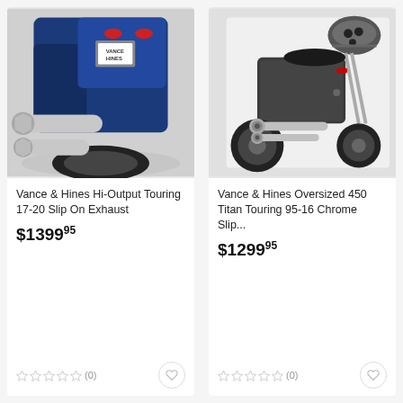[Figure (photo): Close-up rear view of a blue Harley-Davidson touring motorcycle showing chrome dual exhaust pipes with hex-end tips]
Vance & Hines Hi-Output Touring 17-20 Slip On Exhaust
$1399.95
(0)
[Figure (photo): Three-quarter rear view of a dark gray/charcoal Harley-Davidson touring motorcycle with chrome exhaust system]
Vance & Hines Oversized 450 Titan Touring 95-16 Chrome Slip...
$1299.95
(0)